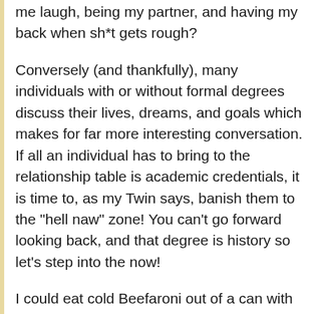me laugh, being my partner, and having my back when sh*t gets rough?
Conversely (and thankfully), many individuals with or without formal degrees discuss their lives, dreams, and goals which makes for far more interesting conversation. If all an individual has to bring to the relationship table is academic credentials, it is time to, as my Twin says, banish them to the "hell naw" zone! You can't go forward looking back, and that degree is history so let's step into the now!
I could eat cold Beefaroni out of a can with an individual who is focused, committed, has his degree in "lifeology", has his priorities straight, and is on a deliberately chartered course. I would gag on filet mignon if it is garnished with a few pieces of paper that merely serve to put a few